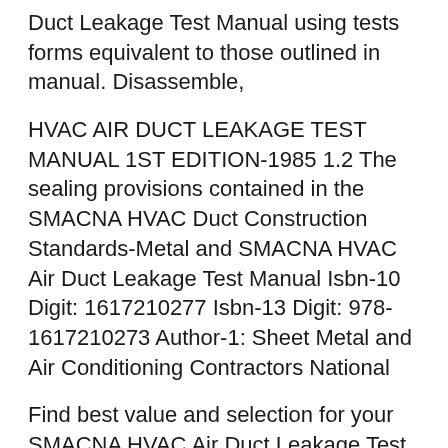Duct Leakage Test Manual using tests forms equivalent to those outlined in manual. Disassemble,
HVAC AIR DUCT LEAKAGE TEST MANUAL 1ST EDITION-1985 1.2 The sealing provisions contained in the SMACNA HVAC Duct Construction Standards-Metal and SMACNA HVAC Air Duct Leakage Test Manual Isbn-10 Digit: 1617210277 Isbn-13 Digit: 978-1617210273 Author-1: Sheet Metal and Air Conditioning Contractors National
Find best value and selection for your SMACNA HVAC Air Duct Leakage Test Manual search on eBay. World's leading marketplace. *SMACNA recommends